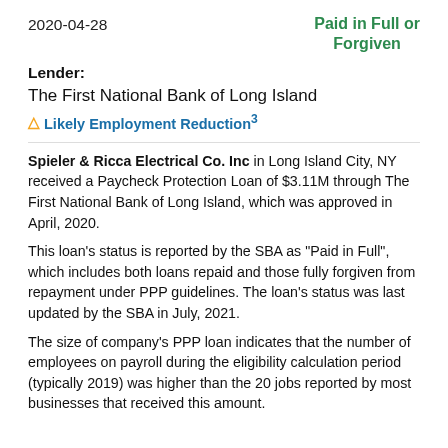2020-04-28
Paid in Full or Forgiven
Lender:
The First National Bank of Long Island
⚠ Likely Employment Reduction³
Spieler & Ricca Electrical Co. Inc in Long Island City, NY received a Paycheck Protection Loan of $3.11M through The First National Bank of Long Island, which was approved in April, 2020.
This loan's status is reported by the SBA as "Paid in Full", which includes both loans repaid and those fully forgiven from repayment under PPP guidelines. The loan's status was last updated by the SBA in July, 2021.
The size of company's PPP loan indicates that the number of employees on payroll during the eligibility calculation period (typically 2019) was higher than the 20 jobs reported by most businesses that received this amount.